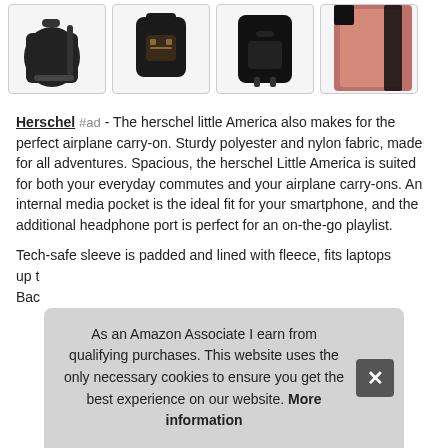[Figure (photo): Four product images of Herschel backpacks in a row, showing different angles and colors (black, brown, black, pink interior)]
Herschel #ad - The herschel little America also makes for the perfect airplane carry-on. Sturdy polyester and nylon fabric, made for all adventures. Spacious, the herschel Little America is suited for both your everyday commutes and your airplane carry-ons. An internal media pocket is the ideal fit for your smartphone, and the additional headphone port is perfect for an on-the-go playlist.
Tech-safe sleeve is padded and lined with fleece, fits laptops up t... Bac...
As an Amazon Associate I earn from qualifying purchases. This website uses the only necessary cookies to ensure you get the best experience on our website. More information